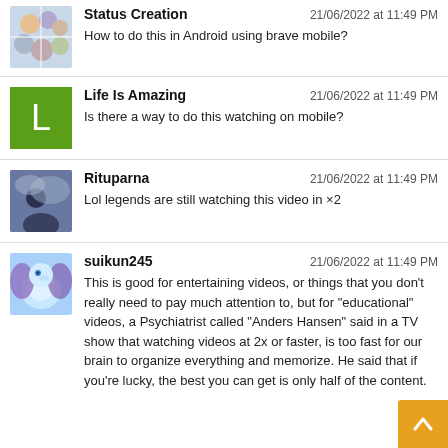Status Creation | 21/06/2022 at 11:49 PM | How to do this in Android using brave mobile?
Life Is Amazing | 21/06/2022 at 11:49 PM | Is there a way to do this watching on mobile?
Rituparna | 21/06/2022 at 11:49 PM | Lol legends are still watching this video in ×2
suikun245 | 21/06/2022 at 11:49 PM | This is good for entertaining videos, or things that you don't really need to pay much attention to, but for "educational" videos, a Psychiatrist called "Anders Hansen" said in a TV show that watching videos at 2x or faster, is too fast for our brain to organize everything and memorize. He said that if you're lucky, the best you can get is only half of the content.